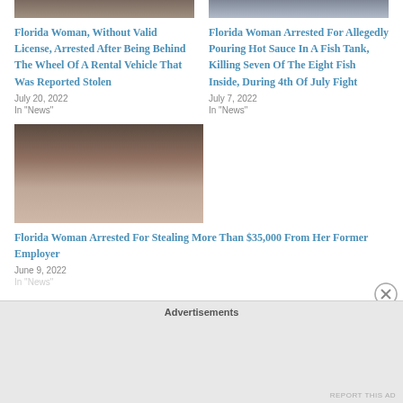[Figure (photo): Mugshot photo top-left, partially cropped at top]
Florida Woman, Without Valid License, Arrested After Being Behind The Wheel Of A Rental Vehicle That Was Reported Stolen
July 20, 2022
In "News"
[Figure (photo): Mugshot photo top-right, partially cropped at top]
Florida Woman Arrested For Allegedly Pouring Hot Sauce In A Fish Tank, Killing Seven Of The Eight Fish Inside, During 4th Of July Fight
July 7, 2022
In "News"
[Figure (photo): Mugshot photo of a woman with long dark hair]
Florida Woman Arrested For Stealing More Than $35,000 From Her Former Employer
June 9, 2022
In "News"
Advertisements